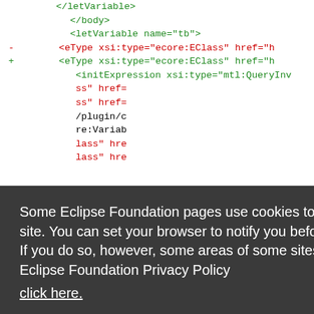[Figure (screenshot): Screenshot of XML diff code in a browser, showing letVariable and eType elements, with a cookie consent overlay from Eclipse Foundation.]
Some Eclipse Foundation pages use cookies to better serve you when you return to the site. You can set your browser to notify you before you receive a cookie or turn off cookies. If you do so, however, some areas of some sites may not function properly. To read Eclipse Foundation Privacy Policy click here.